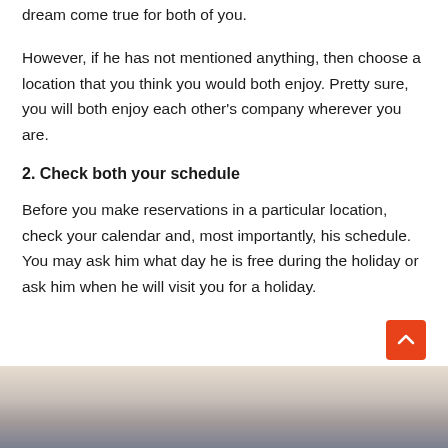dream come true for both of you.
However, if he has not mentioned anything, then choose a location that you think you would both enjoy. Pretty sure, you will both enjoy each other's company wherever you are.
2. Check both your schedule
Before you make reservations in a particular location, check your calendar and, most importantly, his schedule. You may ask him what day he is free during the holiday or ask him when he will visit you for a holiday.
[Figure (photo): A faded outdoor/sky photograph at the bottom of the page, appearing light and atmospheric with muted colors.]